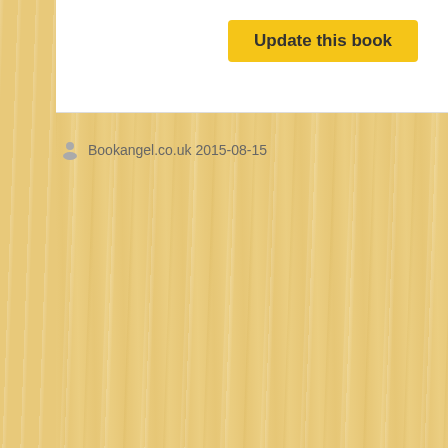[Figure (other): Yellow-amber wood grain textured background covering the full page]
Update this book
Bookangel.co.uk 2015-08-15